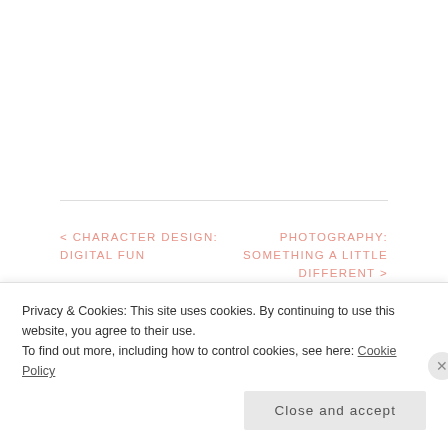< CHARACTER DESIGN: DIGITAL FUN
PHOTOGRAPHY: SOMETHING A LITTLE DIFFERENT >
LEAVE A REPLY
Your email address will not be published. Required fields
Privacy & Cookies: This site uses cookies. By continuing to use this website, you agree to their use. To find out more, including how to control cookies, see here: Cookie Policy
Close and accept